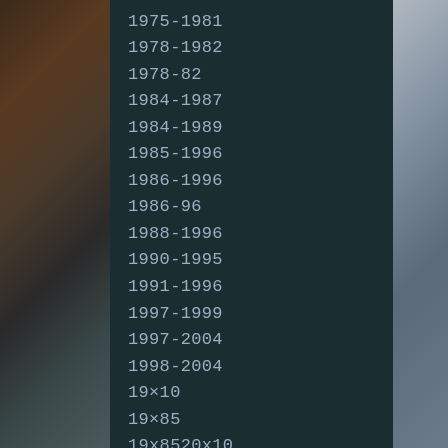1975-1981
1978-1982
1978-82
1984-1987
1984-1989
1985-1996
1986-1996
1986-96
1988-1996
1990-1995
1991-1996
1997-1999
1997-2004
1998-2004
19×10
19×85
19x8520x10
20-22